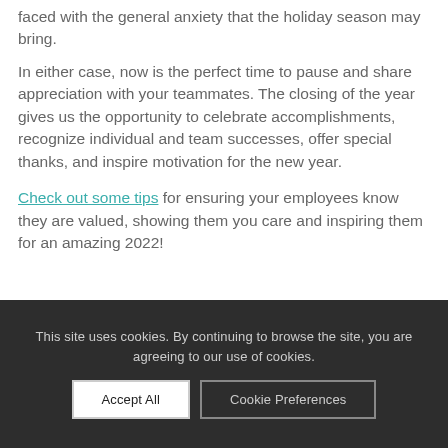faced with the general anxiety that the holiday season may bring.
In either case, now is the perfect time to pause and share appreciation with your teammates. The closing of the year gives us the opportunity to celebrate accomplishments, recognize individual and team successes, offer special thanks, and inspire motivation for the new year.
Check out some tips for ensuring your employees know they are valued, showing them you care and inspiring them for an amazing 2022!
This site uses cookies. By continuing to browse the site, you are agreeing to our use of cookies.